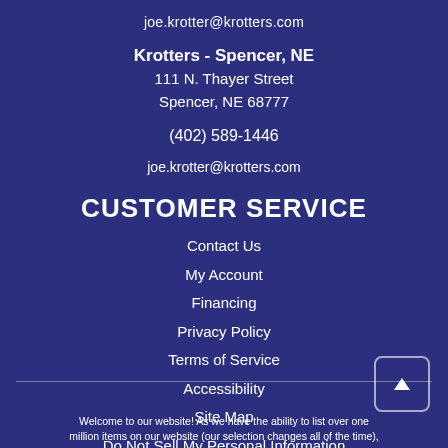joe.krotter@krotters.com
Krotters - Spencer, NE
111 N. Thayer Street
Spencer, NE 68777
(402) 589-1446
joe.krotter@krotters.com
CUSTOMER SERVICE
Contact Us
My Account
Financing
Privacy Policy
Terms of Service
Accessibility
Site Map
Do Not Sell My Personal Information
Welcome to our website! As we have the ability to list over one million items on our website (our selection changes all of the time),